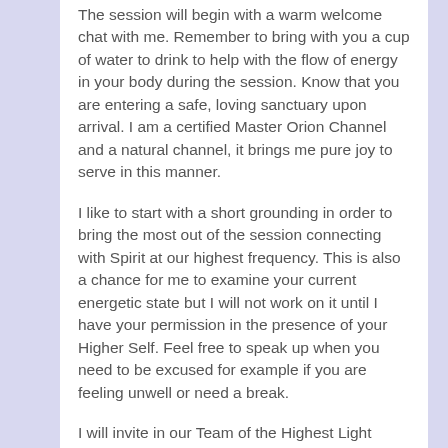The session will begin with a warm welcome chat with me. Remember to bring with you a cup of water to drink to help with the flow of energy in your body during the session. Know that you are entering a safe, loving sanctuary upon arrival. I am a certified Master Orion Channel and a natural channel, it brings me pure joy to serve in this manner.
I like to start with a short grounding in order to bring the most out of the session connecting with Spirit at our highest frequency. This is also a chance for me to examine your current energetic state but I will not work on it until I have your permission in the presence of your Higher Self. Feel free to speak up when you need to be excused for example if you are feeling unwell or need a break.
I will invite in our Team of the Highest Light along